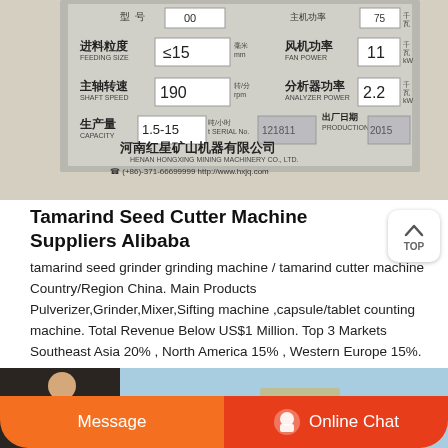[Figure (photo): Close-up photo of a machine specification plate/nameplate showing Chinese text and technical specifications: Feeding Size ≤15mm, Shaft Speed 190 rpm, Fan Power 11 kW, Analyzer Power 2.2 kW, Production 1.5-15 t/h, Serial No. 121811, Production Date 2015-00. Manufacturer: Henan Hongxing Mining Machinery Co., Ltd. Phone: (+86)-371-66699999, http://www.hxjq.com]
Tamarind Seed Cutter Machine Suppliers Alibaba
tamarind seed grinder grinding machine / tamarind cutter machine Country/Region China. Main Products Pulverizer,Grinder,Mixer,Sifting machine ,capsule/tablet counting machine. Total Revenue Below US$1 Million. Top 3 Markets Southeast Asia 20% , North America 15% , Western Europe 15%.
[Figure (photo): Partial photo at bottom showing a person (customer service agent) and machinery, partially obscured by orange chat bar overlay.]